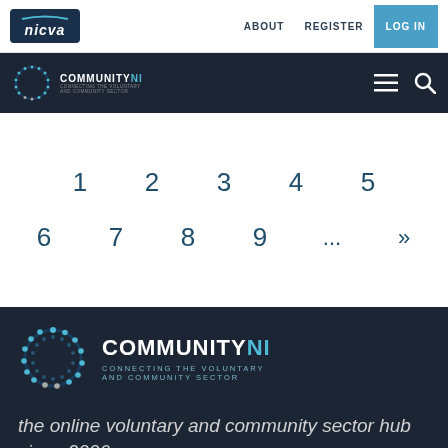[Figure (logo): NICVA logo - white italic text on dark navy background with light blue arc above]
ABOUT   REGISTER
LOG IN
[Figure (logo): CommunityNI logo - circular dotted ring icon with COMMUNITYNI text and tagline CONNECTING THE VOLUNTARY AND COMMUNITY SECTOR on dark background]
[Figure (infographic): Hamburger menu icon and search icon on dark navy background]
1   2   3   4   5
6   7   8   9   ...   »
[Figure (logo): Large CommunityNI logo - circular dotted ring icon with COMMUNITYNI text and tagline CONNECTING THE VOLUNTARY AND COMMUNITY SECTOR on dark background]
the online voluntary and community sector hub since 2006